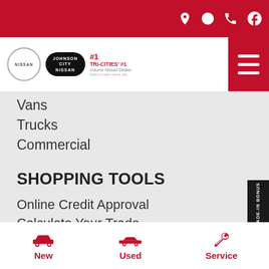Johnson City Nissan — Navigation header with icons and hamburger menu
Vans
Trucks
Commercial
SHOPPING TOOLS
Online Credit Approval
Calculate Your Trade
Schedule Service
Schedule Test Drive
Our Current Offers
[Figure (infographic): $500 Trade-In Bonus side banner]
New | Used | Service